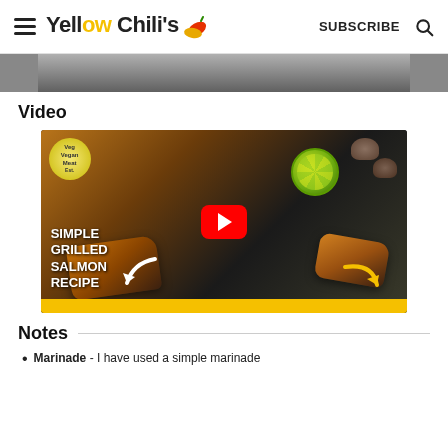Yellow Chili's | SUBSCRIBE
[Figure (photo): Cropped bottom portion of a food photo]
Video
[Figure (screenshot): YouTube video thumbnail for 'Simple Grilled Salmon Recipe' with a red play button, badge reading 'Veg Vegan Meat', grilled salmon pieces, lime, mushrooms, white and yellow arrows, and a yellow bar at bottom]
Notes
Marinade - I have used a simple marinade